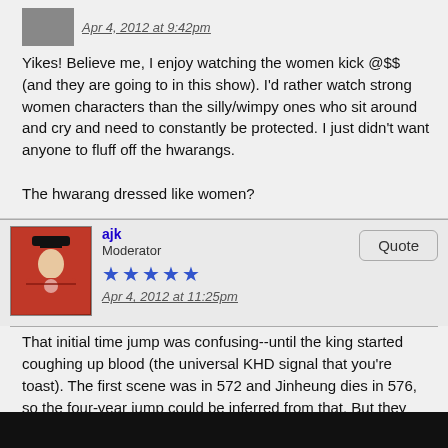[Figure (photo): Small avatar image of a person]
Apr 4, 2012 at 9:42pm
Yikes! Believe me, I enjoy watching the women kick @$$ (and they are going to in this show). I'd rather watch strong women characters than the silly/wimpy ones who sit around and cry and need to constantly be protected. I just didn't want anyone to fluff off the hwarangs.

The hwarang dressed like women?
[Figure (photo): Avatar of user ajk, man in red historical Korean costume with black hat]
ajk
Moderator
★★★★★
Apr 4, 2012 at 11:25pm
Quote
That initial time jump was confusing--until the king started coughing up blood (the universal KHD signal that you're toast). The first scene was in 572 and Jinheung dies in 576, so the four-year jump could be inferred from that. But they should have made it clear, because for most of that scene I'm sure everyone watching was confused.

I've also been wondering how all of those dead guards in the palace courtyard were explained away (the non-poisoning scene). Seolwon must have come up with a real whopper.

As far as the butt-kicking women, the problem with many of those characters is that the scenes of the butt-kicking are just ridiculous. Some